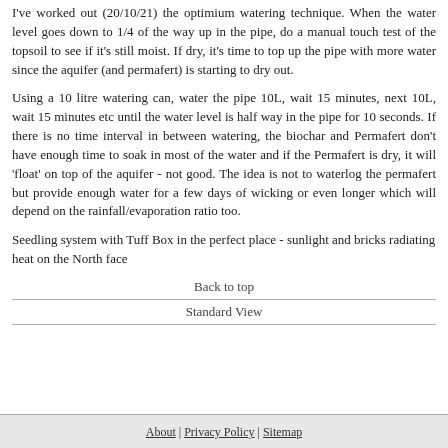I've worked out (20/10/21) the optimium watering technique. When the water level goes down to 1/4 of the way up in the pipe, do a manual touch test of the topsoil to see if it's still moist. If dry, it's time to top up the pipe with more water since the aquifer (and permafert) is starting to dry out.
Using a 10 litre watering can, water the pipe 10L, wait 15 minutes, next 10L, wait 15 minutes etc until the water level is half way in the pipe for 10 seconds. If there is no time interval in between watering, the biochar and Permafert don't have enough time to soak in most of the water and if the Permafert is dry, it will 'float' on top of the aquifer - not good. The idea is not to waterlog the permafert but provide enough water for a few days of wicking or even longer which will depend on the rainfall/evaporation ratio too.
Seedling system with Tuff Box in the perfect place - sunlight and bricks radiating heat on the North face
Back to top
Standard View
About | Privacy Policy | Sitemap